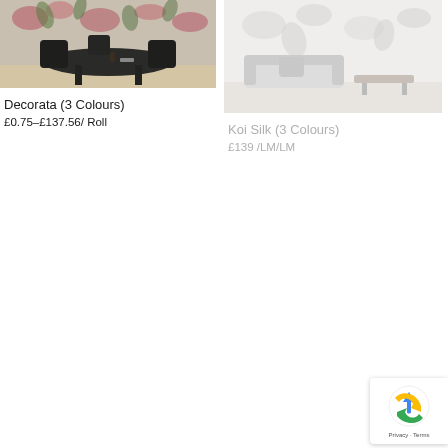[Figure (photo): Dining room scene with dark table and chairs, floral wallpaper in background]
Decorata (3 Colours)
£0.75–£137.56/ Roll
[Figure (photo): Living room with light floral/koi wallpaper, sofa and coffee table]
Koi Silk (3 Colours)
£139 /LM/LM
[Figure (logo): reCAPTCHA badge with Privacy and Terms links]